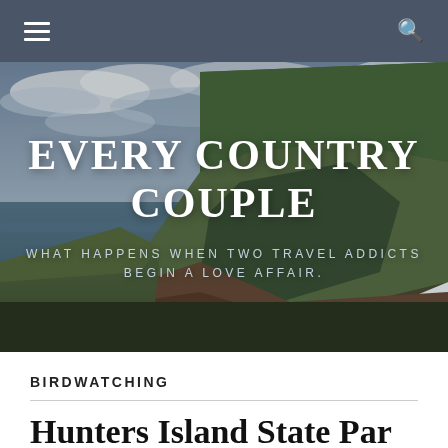Navigation bar with hamburger menu and search icon
[Figure (photo): Dramatic coastal cliff landscape with dark green grassy cliffs, reddish-brown rocky base, grey-blue sea, and dramatic cloudy sky.]
EVERY COUNTRY COUPLE
WHAT HAPPENS WHEN TWO TRAVEL ADDICTS BEGIN A LOVE AFFAIR.
BIRDWATCHING
Hunters Island State Par...